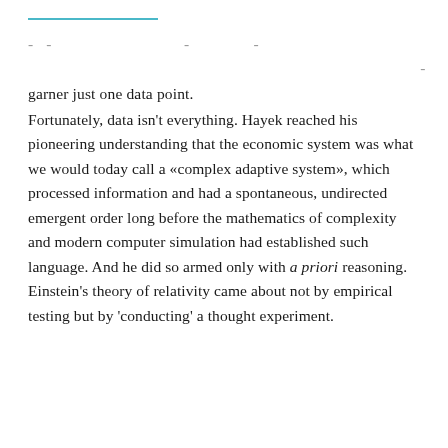garner just one data point.
Fortunately, data isn't everything. Hayek reached his pioneering understanding that the economic system was what we would today call a «complex adaptive system», which processed information and had a spontaneous, undirected emergent order long before the mathematics of complexity and modern computer simulation had established such language. And he did so armed only with a priori reasoning. Einstein's theory of relativity came about not by empirical testing but by 'conducting' a thought experiment.